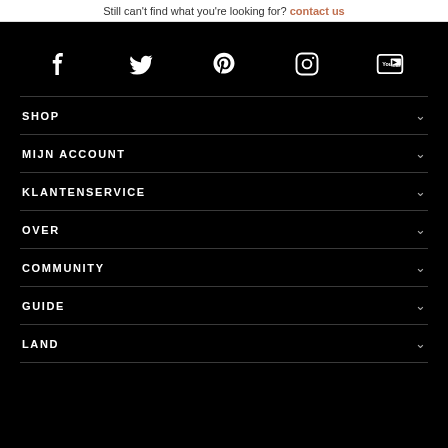Still can't find what you're looking for? contact us
[Figure (infographic): Social media icons row: Facebook, Twitter, Pinterest, Instagram, YouTube on black background]
SHOP
MIJN ACCOUNT
KLANTENSERVICE
OVER
COMMUNITY
GUIDE
LAND